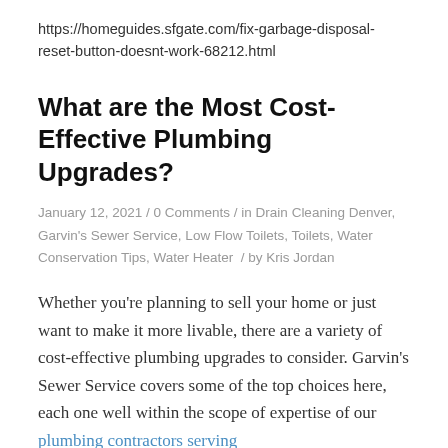https://homeguides.sfgate.com/fix-garbage-disposal-reset-button-doesnt-work-68212.html
What are the Most Cost-Effective Plumbing Upgrades?
January 12, 2021 / 0 Comments / in Drain Cleaning Denver, Garvin's Sewer Service, Low Flow Toilets, Toilets, Water Conservation Tips, Water Heater / by Kris Jordan
Whether you're planning to sell your home or just want to make it more livable, there are a variety of cost-effective plumbing upgrades to consider. Garvin's Sewer Service covers some of the top choices here, each one well within the scope of expertise of our plumbing contractors serving